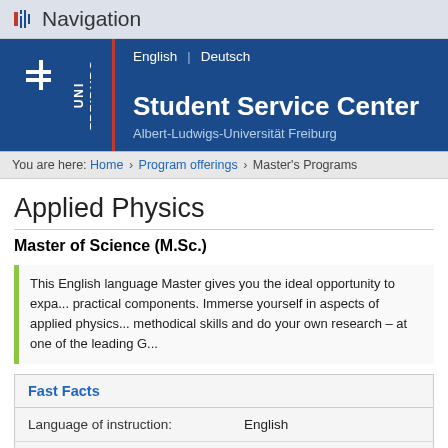Navigation
[Figure (logo): UNI FREIBURG logo with Student Service Center header, Albert-Ludwigs-Universität Freiburg. Language links: English | Deutsch]
You are here: Home > Program offerings > Master's Programs
Applied Physics
Master of Science (M.Sc.)
This English language Master gives you the ideal opportunity to expand your knowledge with practical components. Immerse yourself in aspects of applied physics, develop your methodical skills and do your own research – at one of the leading G
Fast Facts
|  |  |
| --- | --- |
| Language of instruction: | English |
| Academic calendar: | Winter and Summer Semester |
| Standard Period of Study: | 4 semesters (full-time) |